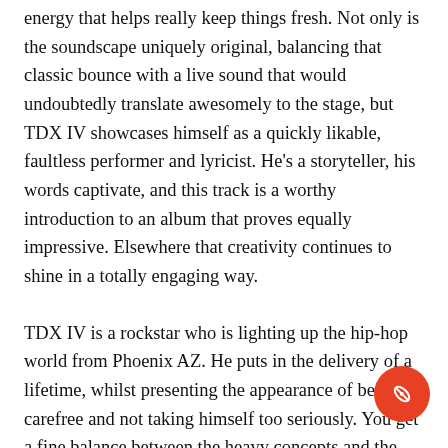energy that helps really keep things fresh. Not only is the soundscape uniquely original, balancing that classic bounce with a live sound that would undoubtedly translate awesomely to the stage, but TDX IV showcases himself as a quickly likable, faultless performer and lyricist. He's a storyteller, his words captivate, and this track is a worthy introduction to an album that proves equally impressive. Elsewhere that creativity continues to shine in a totally engaging way.
TDX IV is a rockstar who is lighting up the hip-hop world from Phoenix AZ. He puts in the delivery of a lifetime, whilst presenting the appearance of being carefree and not taking himself too seriously. You get a fine balance between the heavy concepts and the lightness and infectious grooves of the tracks. TDX IV pours his soul into the process, but he matches it with an uplifting appreciation for the little things. As